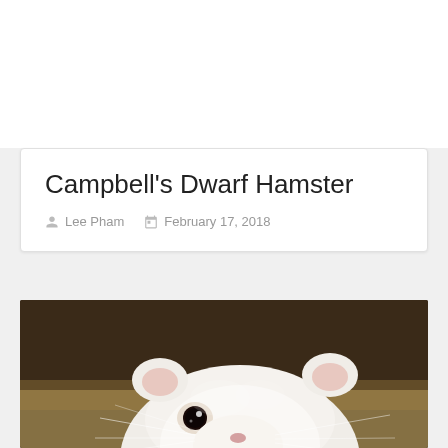Campbell's Dwarf Hamster
Lee Pham   February 17, 2018
[Figure (photo): Close-up photo of a white Campbell's Dwarf Hamster with large dark eyes and small rounded ears, against a dark brown background]